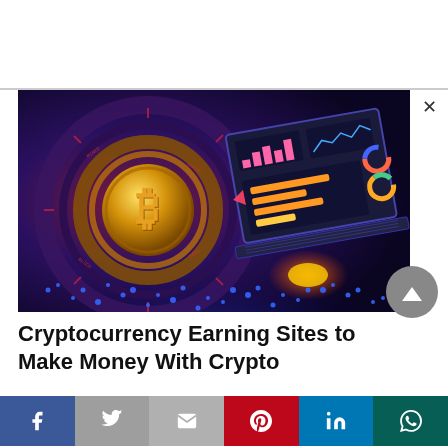[Figure (illustration): Cryptocurrency themed digital illustration showing a gold Bitcoin coin in the center of circular tech rings, with a laptop displaying financial charts and dashboards on the right, glowing blue network dots at the bottom, set against a dark blue-purple and red gradient background.]
Cryptocurrency Earning Sites to Make Money With Crypto